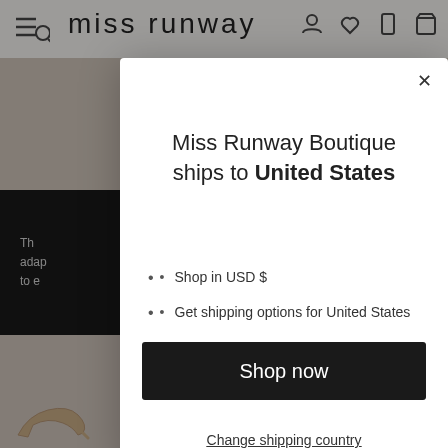[Figure (screenshot): Miss Runway Boutique website screenshot showing navigation bar with logo, a dark promotional banner, and product page elements in the background, overlaid with a modal popup.]
Miss Runway Boutique ships to United States
Shop in USD $
Get shipping options for United States
Shop now
Change shipping country